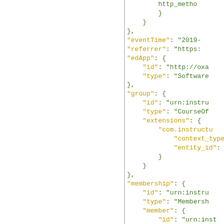[Figure (screenshot): JSON code block showing caliper event structure with fields: http_method (truncated), eventTime, referrer, edApp (id, type), group (id, type, extensions with com.instructure context_type and entity_id), membership (id, type, member with id and type Person), organization (id, type Course). All keys in gold/yellow, values in green, on white background. Left half of page is blank white.]